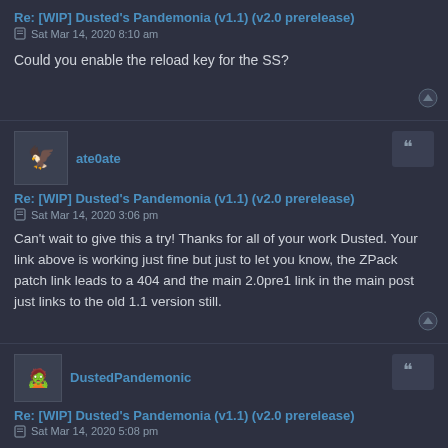Re: [WIP] Dusted's Pandemonia (v1.1) (v2.0 prerelease)
Sat Mar 14, 2020 8:10 am
Could you enable the reload key for the SS?
ate0ate
Re: [WIP] Dusted's Pandemonia (v1.1) (v2.0 prerelease)
Sat Mar 14, 2020 3:06 pm
Can't wait to give this a try! Thanks for all of your work Dusted. Your link above is working just fine but just to let you know, the ZPack patch link leads to a 404 and the main 2.0pre1 link in the main post just links to the old 1.1 version still.
DustedPandemonic
Re: [WIP] Dusted's Pandemonia (v1.1) (v2.0 prerelease)
Sat Mar 14, 2020 5:08 pm